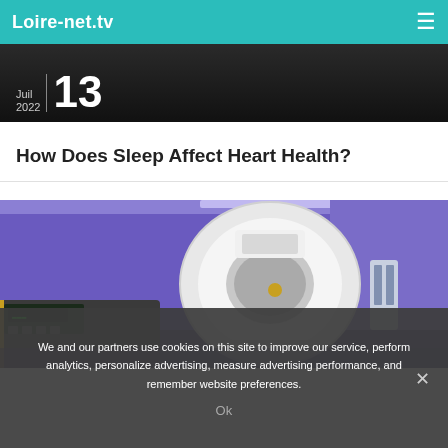Loire-net.tv
[Figure (screenshot): Dark banner showing partial date: 2022 / 13]
How Does Sleep Affect Heart Health?
[Figure (photo): Medical MRI scanner machine in a room with purple ambient lighting and a control panel in the foreground]
We and our partners use cookies on this site to improve our service, perform analytics, personalize advertising, measure advertising performance, and remember website preferences.